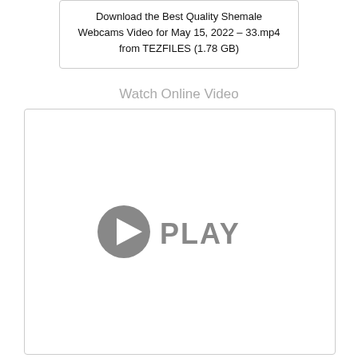Download the Best Quality Shemale Webcams Video for May 15, 2022 – 33.mp4 from TEZFILES (1.78 GB)
Watch Online Video
[Figure (other): Video player placeholder box with a grey play button icon and the text PLAY]